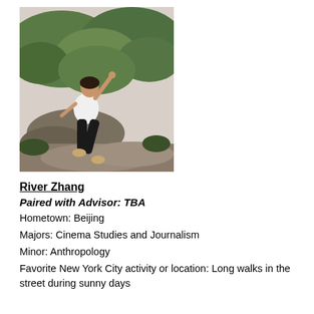[Figure (photo): Young woman posing on rocky terrain with lush green hills in background, wearing white t-shirt and black pants, one arm raised]
River Zhang
Paired with Advisor: TBA
Hometown: Beijing
Majors: Cinema Studies and Journalism
Minor: Anthropology
Favorite New York City activity or location: Long walks in the street during sunny days